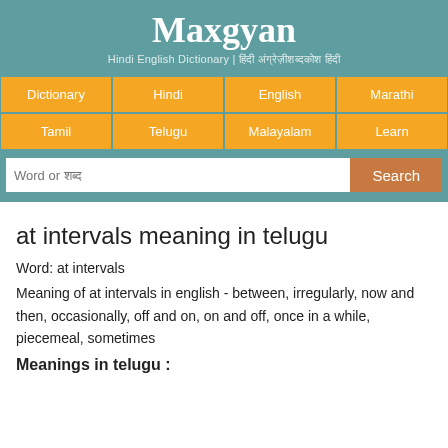Maxgyan
Hindi English Dictionary | हिंदी अंग्रेजी शब्दकोश
at intervals meaning in telugu
Word: at intervals
Meaning of at intervals in english - between, irregularly, now and then, occasionally, off and on, on and off, once in a while, piecemeal, sometimes
Meanings in telugu :